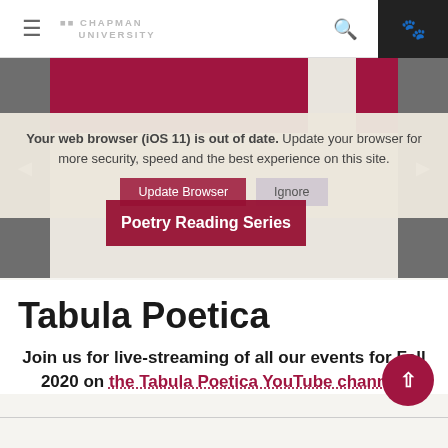[Figure (screenshot): Chapman University website navigation bar with hamburger menu, Chapman University logo, search icon, and paw icon on dark background]
[Figure (screenshot): Website slider area with dark red/maroon banner blocks and gray arrow navigation buttons. Overlaid with browser update notification and Poetry Reading Series label.]
Your web browser (iOS 11) is out of date. Update your browser for more security, speed and the best experience on this site.
Update Browser | Ignore
Tabula Poetica
Join us for live-streaming of all our events for Fall 2020 on the Tabula Poetica YouTube channel!